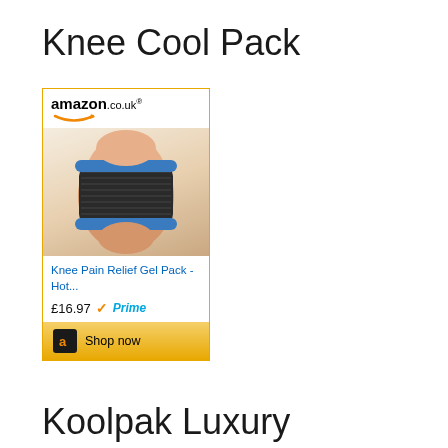Knee Cool Pack
[Figure (screenshot): Amazon.co.uk advertisement for Knee Pain Relief Gel Pack - Hot... priced at £16.97 with Prime badge and Shop now button]
Koolpak Luxury